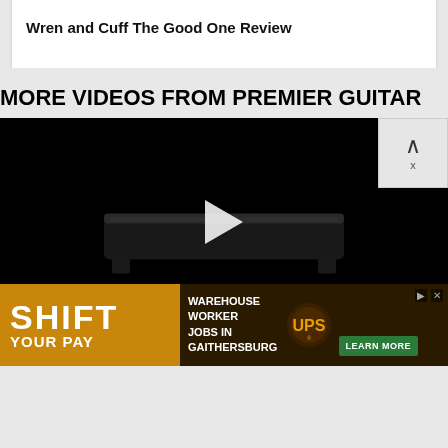Wren and Cuff The Good One Review
MORE VIDEOS FROM PREMIER GUITAR
[Figure (screenshot): Video player showing a black guitar pedal board on a black background with a play button overlay. An advertisement for UPS warehouse worker jobs in Gaithersburg overlays the bottom portion, featuring 'SHIFT YOUR PAY' text in orange and brown colors with a UPS logo and 'LEARN MORE' button.]